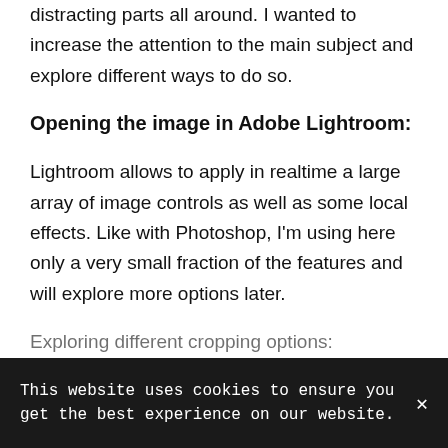distracting parts all around. I wanted to increase the attention to the main subject and explore different ways to do so.
Opening the image in Adobe Lightroom:
Lightroom allows to apply in realtime a large array of image controls as well as some local effects. Like with Photoshop, I'm using here only a very small fraction of the features and will explore more options later.
Exploring different cropping options:
This website uses cookies to ensure you get the best experience on our website.